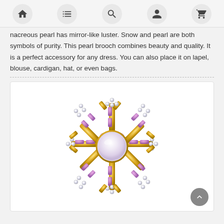[Navigation bar with home, list, search, account, cart icons]
nacreous pearl has mirror-like luster. Snow and pearl are both symbols of purity. This pearl brooch combines beauty and quality. It is a perfect accessory for any dress. You can also place it on lapel, blouse, cardigan, hat, or even bags.
[Figure (photo): A snowflake-shaped brooch with a large white pearl center, gold metal frame, purple/lavender baguette crystals radiating outward, and clear rhinestone accents at the tips.]